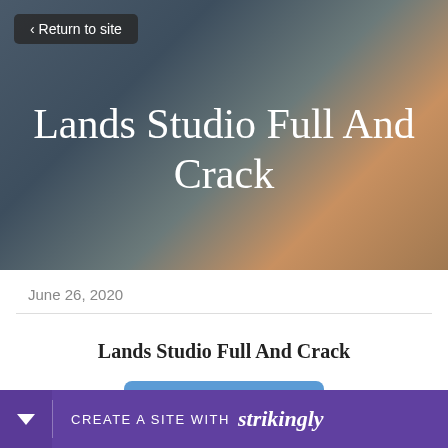[Figure (photo): Hero background with blurred gradient colors in dark teal, grey, and warm orange/brown tones]
< Return to site
Lands Studio Full And Crack
June 26, 2020
Lands Studio Full And Crack
Download
CREATE A SITE WITH strikingly